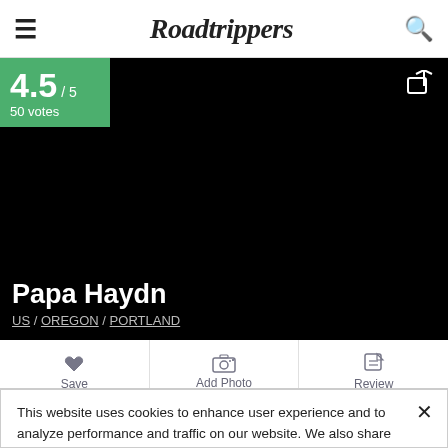Roadtrippers
[Figure (screenshot): Black hero image area with rating badge showing 4.5/5, 50 votes in green, and a share icon in white]
Papa Haydn
US / OREGON / PORTLAND
Save | Add Photo | Review
701 NW 23rd Avenue & 5829 Southeast Milwaukie, 982.9 mi
This website uses cookies to enhance user experience and to analyze performance and traffic on our website. We also share information about your use of our site with our social media and analytics partners. Roadtrippers Privacy/Cookie Policy